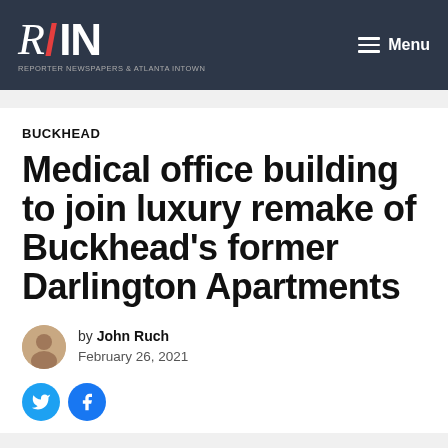R/IN — Reporter Newspapers & Atlanta Intown — Menu
BUCKHEAD
Medical office building to join luxury remake of Buckhead's former Darlington Apartments
by John Ruch
February 26, 2021